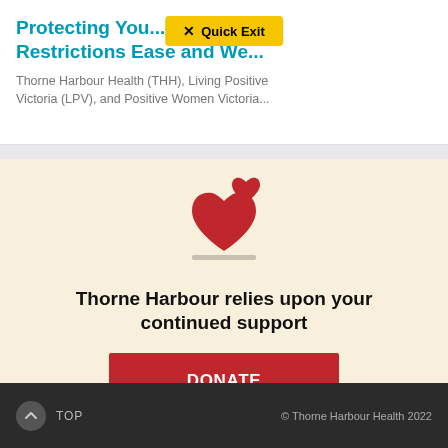Protecting You... COVID-19 Restrictions Ease and We...
[Figure (other): Quick Exit button overlay with yellow background, X icon and bold text 'Quick Exit']
Thorne Harbour Health (THH), Living Positive Victoria (LPV), and Positive Women Victoria...
[Figure (illustration): Two red hearts icon above a donation box with a horizontal base line]
Thorne Harbour relies upon your continued support
DONATE
TOP   © Thorne Harbour Health 2022